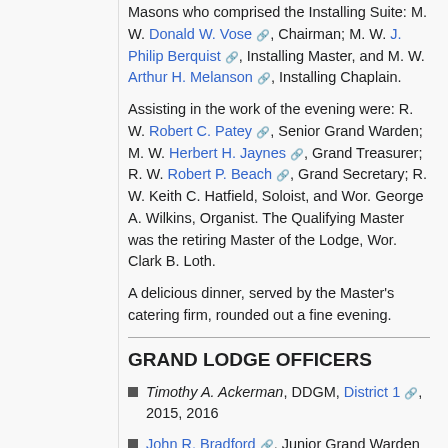Masons who comprised the Installing Suite: M. W. Donald W. Vose, Chairman; M. W. J. Philip Berquist, Installing Master, and M. W. Arthur H. Melanson, Installing Chaplain.
Assisting in the work of the evening were: R. W. Robert C. Patey, Senior Grand Warden; M. W. Herbert H. Jaynes, Grand Treasurer; R. W. Robert P. Beach, Grand Secretary; R. W. Keith C. Hatfield, Soloist, and Wor. George A. Wilkins, Organist. The Qualifying Master was the retiring Master of the Lodge, Wor. Clark B. Loth.
A delicious dinner, served by the Master's catering firm, rounded out a fine evening.
GRAND LODGE OFFICERS
Timothy A. Ackerman, DDGM, District 1, 2015, 2016
John R. Bradford, Junior Grand Warden 1846-1848
T. Frederick Brunton, Grand Marshal 1935-1937, Senior Grand Warden 1938
Andrew R. Cornwall, DDGM, District 1